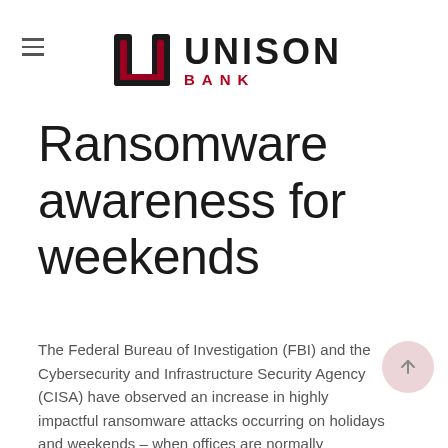[Figure (logo): Unison Bank logo with stylized U icon in dark/crimson and text UNISON BANK]
Ransomware awareness for weekends
The Federal Bureau of Investigation (FBI) and the Cybersecurity and Infrastructure Security Agency (CISA) have observed an increase in highly impactful ransomware attacks occurring on holidays and weekends – when offices are normally